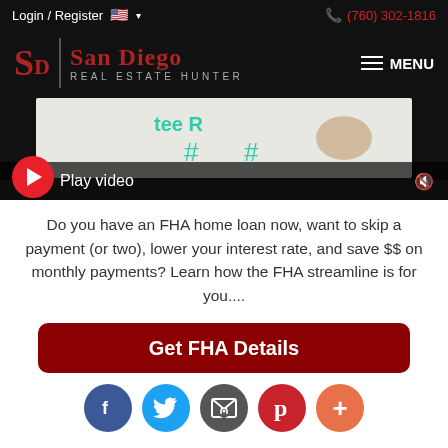Login / Register  🇺🇸 ▾   📞 (760) 302-1816
[Figure (logo): San Diego Real Estate Hunter logo with red SD monogram on black background, with hamburger MENU button]
[Figure (screenshot): Video thumbnail showing whiteboard with text, red play button circle, 'Play video' text overlay, and mute icon]
Do you have an FHA home loan now, want to skip a payment (or two), lower your interest rate, and save $$ on monthly payments? Learn how the FHA streamline is for you....
Get FHA Details
[Figure (infographic): Social media sharing bar with Facebook, Twitter, Email, Pinterest, and More (+) buttons as colored circles]